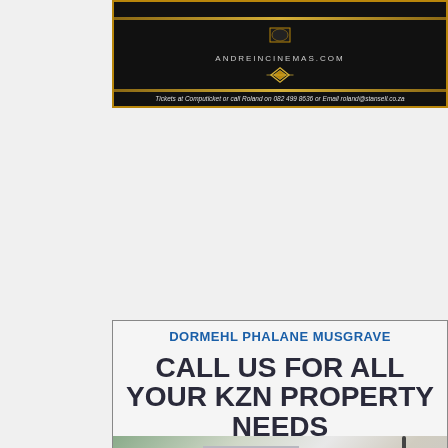[Figure (illustration): Dark cinema advertisement banner with gold border. Shows 'ANDREINCINEMAS.COM' text and a gold diamond/chevron logo. Text at bottom reads: 'Tickets at Computicket or call Roland on 082 499 8636 or Email roland@stansell.co.za']
[Figure (photo): Real estate advertisement for Dormehl Phalane Musgrave. Top text: 'DORMEHL PHALANE MUSGRAVE' in blue bold. Large dark text: 'CALL US FOR ALL YOUR KZN PROPERTY NEEDS'. Shows interior photos of a property including living areas, kitchen cabinets, and sliding doors to garden.]